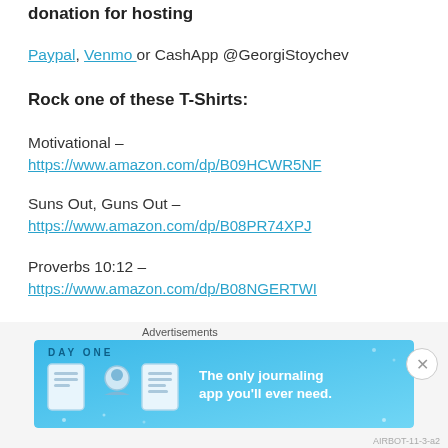donation for hosting
Paypal, Venmo or CashApp @GeorgiStoychev
Rock one of these T-Shirts:
Motivational –
https://www.amazon.com/dp/B09HCWR5NF
Suns Out, Guns Out –
https://www.amazon.com/dp/B08PR74XPJ
Proverbs 10:12 –
https://www.amazon.com/dp/B08NGERTWI
Advertisements
[Figure (infographic): Day One journaling app advertisement banner with blue background showing app icons and text 'The only journaling app you'll ever need.']